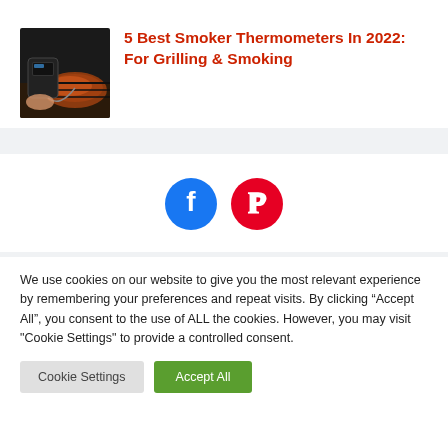[Figure (photo): Thumbnail photo of a smoker thermometer device next to grilling meat on a smoker]
5 Best Smoker Thermometers In 2022: For Grilling & Smoking
[Figure (illustration): Social share buttons: Facebook (blue circle with f icon) and Pinterest (red circle with P icon)]
We use cookies on our website to give you the most relevant experience by remembering your preferences and repeat visits. By clicking “Accept All”, you consent to the use of ALL the cookies. However, you may visit "Cookie Settings" to provide a controlled consent.